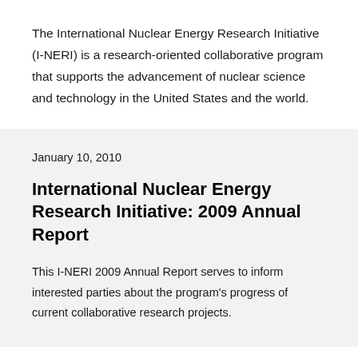The International Nuclear Energy Research Initiative (I-NERI) is a research-oriented collaborative program that supports the advancement of nuclear science and technology in the United States and the world.
January 10, 2010
International Nuclear Energy Research Initiative: 2009 Annual Report
This I-NERI 2009 Annual Report serves to inform interested parties about the program's progress of current collaborative research projects.